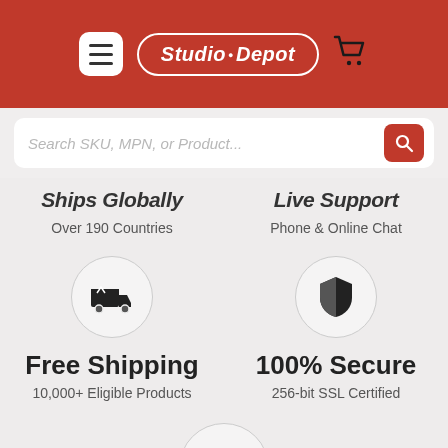[Figure (screenshot): Studio Depot website header with hamburger menu button, oval logo reading 'Studio • Depot', and shopping cart icon on a dark red background]
[Figure (screenshot): Search bar with placeholder text 'Search SKU, MPN, or Product...' and a red search button]
Ships Globally
Live Support
Over 190 Countries
Phone & Online Chat
[Figure (illustration): Circular icon with a delivery truck]
[Figure (illustration): Circular icon with a shield (security symbol)]
Free Shipping
100% Secure
10,000+ Eligible Products
256-bit SSL Certified
[Figure (illustration): Circular icon with a cash/money bill]
Financing